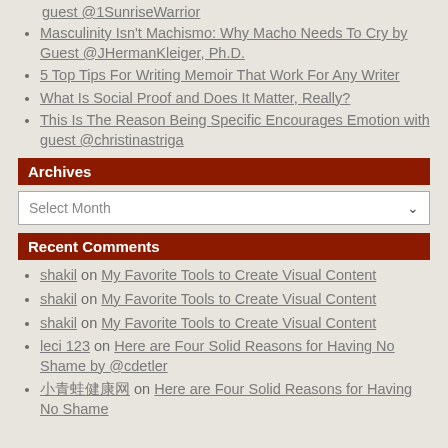guest @1SunriseWarrior
Masculinity Isn't Machismo: Why Macho Needs To Cry by Guest @JHermanKleiger, Ph.D.
5 Top Tips For Writing Memoir That Work For Any Writer
What Is Social Proof and Does It Matter, Really?
This Is The Reason Being Specific Encourages Emotion with guest @christinastriga
Archives
Select Month
Recent Comments
shakil on My Favorite Tools to Create Visual Content
shakil on My Favorite Tools to Create Visual Content
shakil on My Favorite Tools to Create Visual Content
leci 123 on Here are Four Solid Reasons for Having No Shame by @cdetler
?????? on Here are Four Solid Reasons for Having No Shame